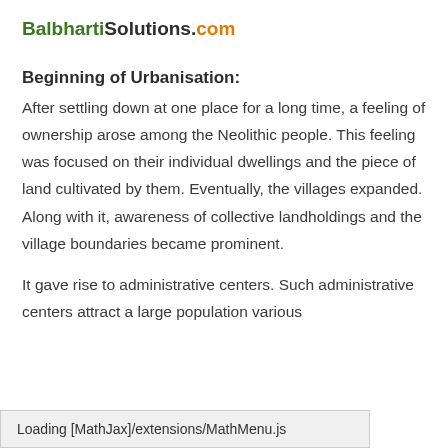BalbhartiSolutions.com
Beginning of Urbanisation:
After settling down at one place for a long time, a feeling of ownership arose among the Neolithic people. This feeling was focused on their individual dwellings and the piece of land cultivated by them. Eventually, the villages expanded. Along with it, awareness of collective landholdings and the village boundaries became prominent.
It gave rise to administrative centers. Such administrative centers attract a large population various
Loading [MathJax]/extensions/MathMenu.js